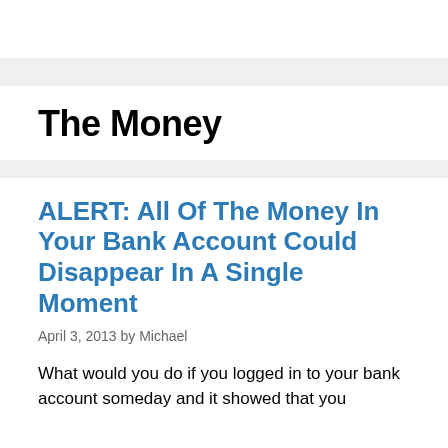The Money
ALERT: All Of The Money In Your Bank Account Could Disappear In A Single Moment
April 3, 2013 by Michael
What would you do if you logged in to your bank account someday and it showed that you